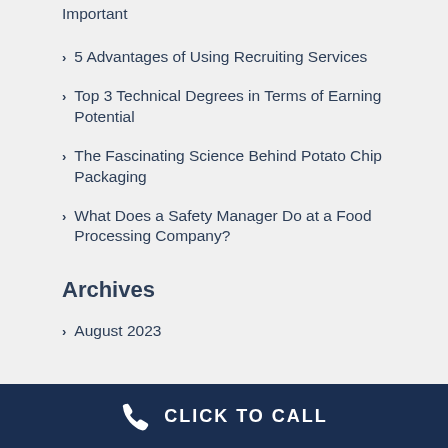Important
5 Advantages of Using Recruiting Services
Top 3 Technical Degrees in Terms of Earning Potential
The Fascinating Science Behind Potato Chip Packaging
What Does a Safety Manager Do at a Food Processing Company?
Archives
August 2023
CLICK TO CALL